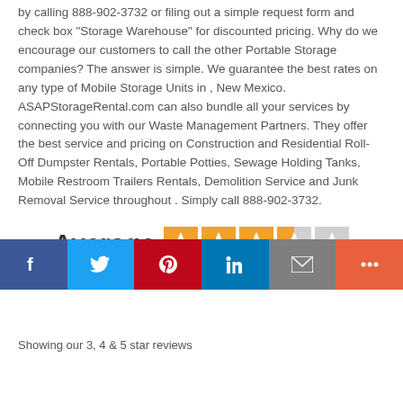by calling 888-902-3732 or filing out a simple request form and check box "Storage Warehouse" for discounted pricing. Why do we encourage our customers to call the other Portable Storage companies?  The answer is simple. We guarantee the best rates on any type of Mobile Storage Units in , New Mexico. ASAPStorageRental.com can also bundle all your services by connecting you with our Waste Management Partners.  They offer the best service and pricing on Construction and Residential Roll-Off Dumpster Rentals, Portable Potties, Sewage Holding Tanks, Mobile Restroom Trailers Rentals, Demolition Service and Junk Removal Service throughout . Simply call 888-902-3732.
[Figure (infographic): Trustpilot rating display showing 'Average' with 3.5 out of 5 stars (4 full yellow stars, 1 half yellow star, 1 empty star) and text 'Rated 3.5 / 5 based on 2,774 reviews on Trustpilot']
Showing our 3, 4 & 5 star reviews
[Figure (infographic): Social media share bar with Facebook, Twitter, Pinterest, LinkedIn, Email, and More buttons]